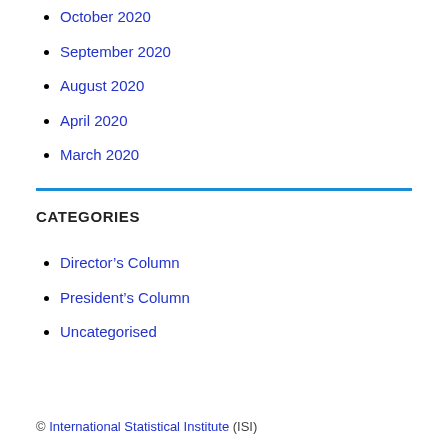October 2020
September 2020
August 2020
April 2020
March 2020
CATEGORIES
Director's Column
President's Column
Uncategorised
© International Statistical Institute (ISI)